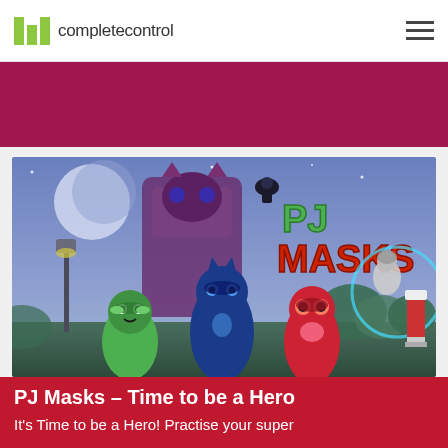completecontrol
[Figure (illustration): PJ Masks animated show promotional image showing Catboy, Owlette, Gekko and villains against a night sky background with PJ MASKS logo]
PJ Masks – Time to be a Hero
It's Time to be a Hero! Practise your super